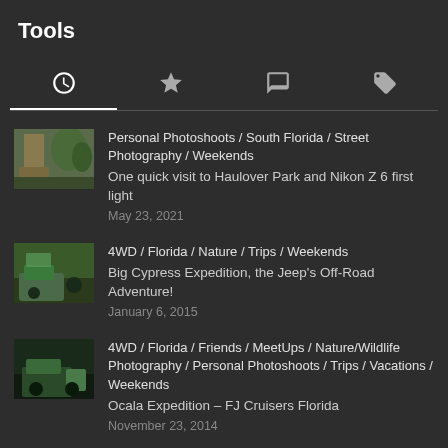Tools
[Figure (screenshot): Navigation tabs with clock, star, comment, and tag icons]
Personal Photoshoots / South Florida / Street Photography / Weekends
One quick visit to Haulover Park and Nikon Z 6 first light
May 23, 2021
4WD / Florida / Nature / Trips / Weekends
Big Cypress Expedition, the Jeep's Off-Road Adventure!
January 6, 2015
4WD / Florida / Friends / MeetUps / Nature/Wildlife Photography / Personal Photoshoots / Trips / Vacations / Weekends
Ocala Expedition – FJ Cruisers Florida
November 23, 2014
4WD / Events / Personal Photoshoots / Trips / Vacations / Weekends